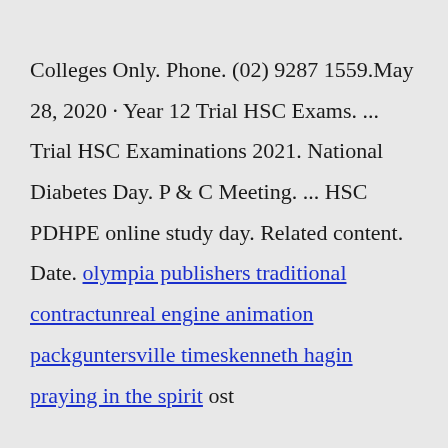Colleges Only. Phone. (02) 9287 1559.May 28, 2020 · Year 12 Trial HSC Exams. ... Trial HSC Examinations 2021. National Diabetes Day. P & C Meeting. ... HSC PDHPE online study day. Related content. Date. olympia publishers traditional contractunreal engine animation packguntersville timeskenneth hagin praying in the spirit ost